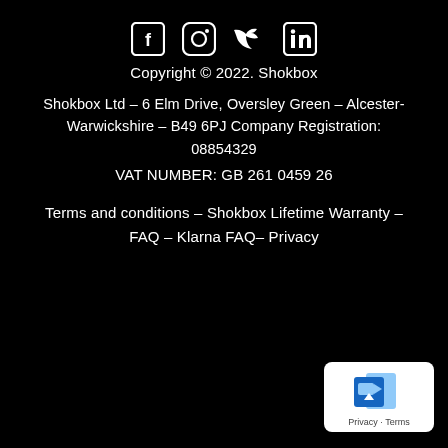[Figure (other): Row of four social media icons: Facebook, Instagram, Twitter, LinkedIn — white on black background]
Copyright © 2022. Shokbox
Shokbox Ltd – 6 Elm Drive, Oversley Green – Alcester- Warwickshire – B49 6PJ Company Registration: 08854329
VAT NUMBER: GB 261 0459 26
Terms and conditions – Shokbox Lifetime Warranty – FAQ – Klarna FAQ– Privacy
[Figure (other): Google Privacy & Terms badge with blue document icons, showing 'Privacy - Terms' text on white rounded rectangle]